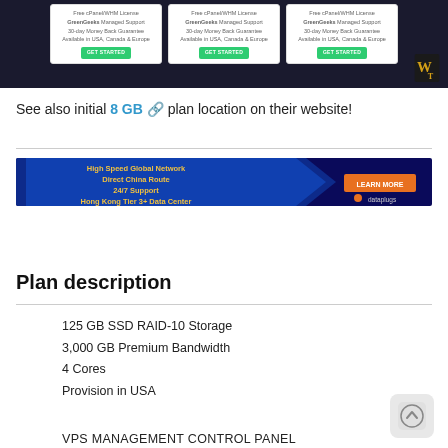[Figure (screenshot): Top portion showing three hosting plan cards (GreenGeeks) with GET STARTED buttons on dark data center background, with WT logo in bottom right]
See also initial 8 GB plan location on their website!
[Figure (infographic): Dataplugs banner ad: High Speed Global Network, Direct China Route, 24/7 Support, Hong Kong Tier 3+ Data Center, LEARN MORE button]
Plan description
125 GB SSD RAID-10 Storage
3,000 GB Premium Bandwidth
4 Cores
Provision in USA
VPS MANAGEMENT CONTROL PANEL